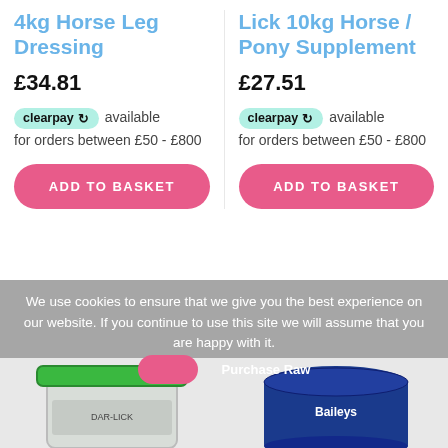4kg Horse Leg Dressing
£34.81
clearpay available for orders between £50 - £800
ADD TO BASKET
Lick 10kg Horse / Pony Supplement
£27.51
clearpay available for orders between £50 - £800
ADD TO BASKET
We use cookies to ensure that we give you the best experience on our website. If you continue to use this site we will assume that you are happy with it.
[Figure (photo): Two product containers partially visible at bottom: a white container with green lid on the left, and a blue/navy Baileys branded tub on the right]